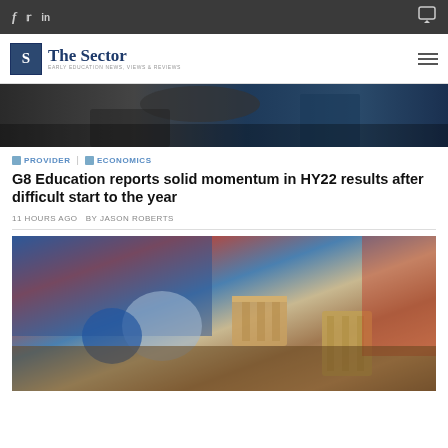The Sector — Early Education News, Views & Reviews
[Figure (photo): Close-up of hands, possibly an early education setting with children and carer]
PROVIDER | ECONOMICS
G8 Education reports solid momentum in HY22 results after difficult start to the year
11 HOURS AGO  BY JASON ROBERTS
[Figure (photo): Children playing on a wooden floor with wooden crates and toys in an early education setting, blue background]